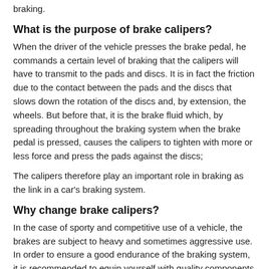braking.
What is the purpose of brake calipers?
When the driver of the vehicle presses the brake pedal, he commands a certain level of braking that the calipers will have to transmit to the pads and discs. It is in fact the friction due to the contact between the pads and the discs that slows down the rotation of the discs and, by extension, the wheels. But before that, it is the brake fluid which, by spreading throughout the braking system when the brake pedal is pressed, causes the calipers to tighten with more or less force and press the pads against the discs;
The calipers therefore play an important role in braking as the link in a car's braking system.
Why change brake calipers?
In the case of sporty and competitive use of a vehicle, the brakes are subject to heavy and sometimes aggressive use. In order to ensure a good endurance of the braking system, it is recommended to equip yourself with quality components such as AP Racing brake calipers.
Beyond that, sports brake calipers will improve your performance by offering more responsive and efficient braking than with conventional brake calipers. This gain in